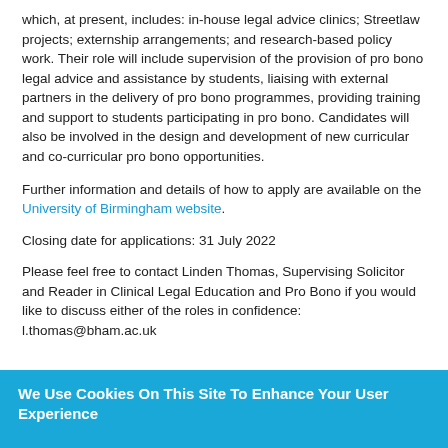which, at present, includes: in-house legal advice clinics; Streetlaw projects; externship arrangements; and research-based policy work. Their role will include supervision of the provision of pro bono legal advice and assistance by students, liaising with external partners in the delivery of pro bono programmes, providing training and support to students participating in pro bono. Candidates will also be involved in the design and development of new curricular and co-curricular pro bono opportunities.
Further information and details of how to apply are available on the University of Birmingham website.
Closing date for applications: 31 July 2022
Please feel free to contact Linden Thomas, Supervising Solicitor and Reader in Clinical Legal Education and Pro Bono if you would like to discuss either of the roles in confidence: l.thomas@bham.ac.uk
We Use Cookies On This Site To Enhance Your User Experience